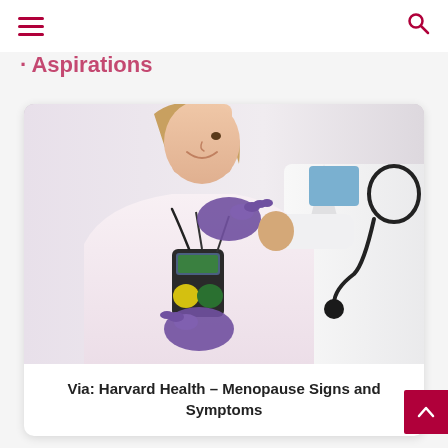≡  [search icon]
· · · Aspirations
[Figure (photo): A female patient in a light pink shirt smiling, with a Holter monitor device attached to her chest. A doctor in a white coat wearing purple gloves is placing electrode leads on the patient's chest. The doctor also has a stethoscope around their neck.]
Via: Harvard Health – Menopause Signs and Symptoms